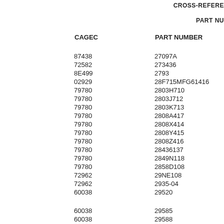CROSS-REFERE
PART NU
| CAGEC | PART NUMBER |
| --- | --- |
| 87438 | 27097A |
| 72582 | 273436 |
| 8E499 | 2793 |
| 02929 | 28F715MFG61416 |
| 79780 | 2803H710 |
| 79780 | 2803J712 |
| 79780 | 2803K713 |
| 79780 | 2808A417 |
| 79780 | 2808X414 |
| 79780 | 2808Y415 |
| 79780 | 2808Z416 |
| 79780 | 28436137 |
| 79780 | 2849N118 |
| 79780 | 2858D108 |
| 72962 | 29NE108 |
| 72962 | 2935-04 |
| 60038 | 29520 |
| 60038 | 29585 |
| 60038 | 29588 |